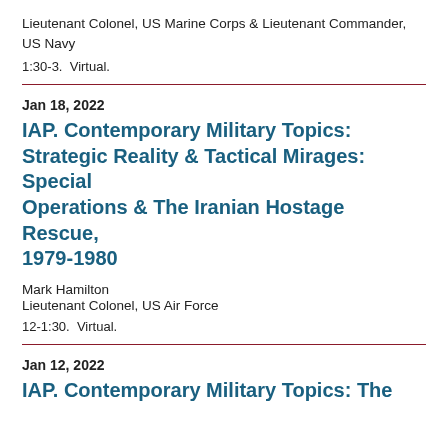Lieutenant Colonel, US Marine Corps & Lieutenant Commander, US Navy
1:30-3.  Virtual.
Jan 18, 2022
IAP. Contemporary Military Topics: Strategic Reality & Tactical Mirages: Special Operations & The Iranian Hostage Rescue, 1979-1980
Mark Hamilton
Lieutenant Colonel, US Air Force
12-1:30.  Virtual.
Jan 12, 2022
IAP. Contemporary Military Topics: The